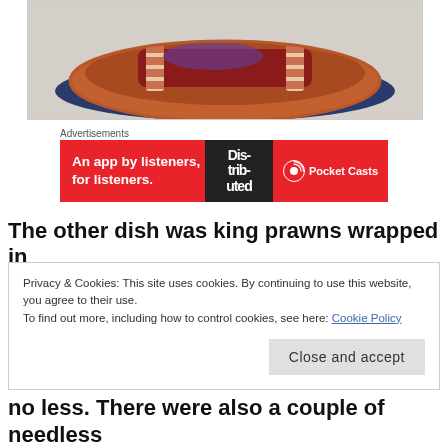[Figure (photo): A clay/terracotta dish containing what appears to be meat (possibly ribs or a roast) with bacon or similar striped garnish, served on a dark blue napkin on a white table.]
Advertisements
[Figure (other): Advertisement banner in red for Pocket Casts: 'An app by listeners, for listeners.' with a dark panel showing stylized text 'Distributed' and Pocket Casts logo on the right.]
The other dish was king prawns wrapped in
Privacy & Cookies: This site uses cookies. By continuing to use this website, you agree to their use.
To find out more, including how to control cookies, see here: Cookie Policy
Close and accept
no less. There were also a couple of needless